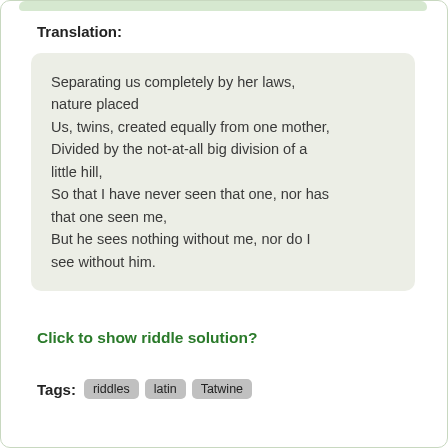Translation:
Separating us completely by her laws, nature placed
Us, twins, created equally from one mother,
Divided by the not-at-all big division of a little hill,
So that I have never seen that one, nor has that one seen me,
But he sees nothing without me, nor do I see without him.
Click to show riddle solution?
Tags: riddles latin Tatwine